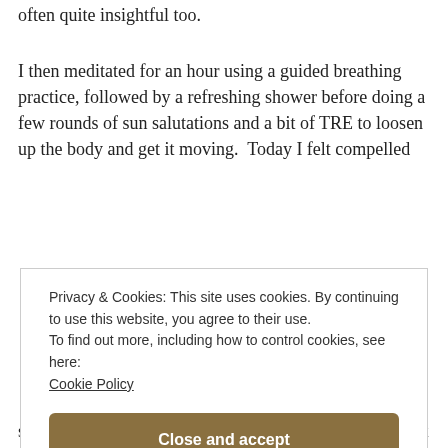often quite insightful too.
I then meditated for an hour using a guided breathing practice, followed by a refreshing shower before doing a few rounds of sun salutations and a bit of TRE to loosen up the body and get it moving.  Today I felt compelled
Privacy & Cookies: This site uses cookies. By continuing to use this website, you agree to their use.
To find out more, including how to control cookies, see here: Cookie Policy
Close and accept
started going to back in the UK and if you love to just let